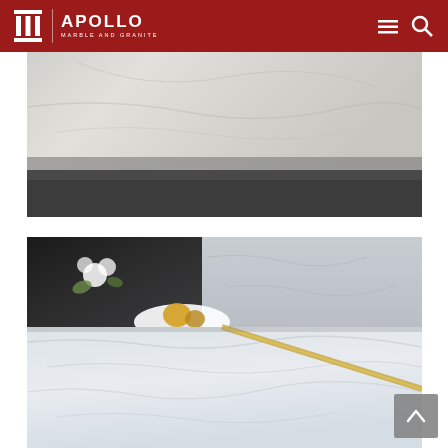Apollo Marble and Granite
[Figure (photo): Close-up photo of marble stone surface showing white and grey veining pattern with a dark edge at the bottom]
[Figure (photo): Kitchen countertop scene with white marble surface featuring subtle grey veining, a white plate with fruit, white flowers, dark cabinetry in background, and a brass or gold inlay strip on the countertop edge]